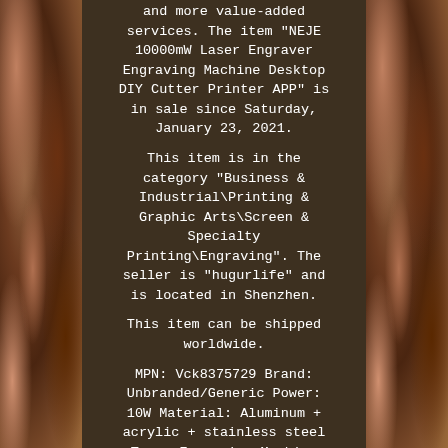and more value-added services. The item "NEJE 10000mW Laser Engraver Engraving Machine Desktop DIY Cutter Printer APP" is in sale since Saturday, January 23, 2021.

This item is in the category "Business & Industrial\Printing & Graphic Arts\Screen & Specialty Printing\Engraving". The seller is "hugurlife" and is located in Shenzhen.

This item can be shipped worldwide.

MPN: Vck8375729 Brand: Unbranded/Generic Power: 10W Material: Aluminum + acrylic + stainless steel Type: Engraving Machine Model: DSV231564